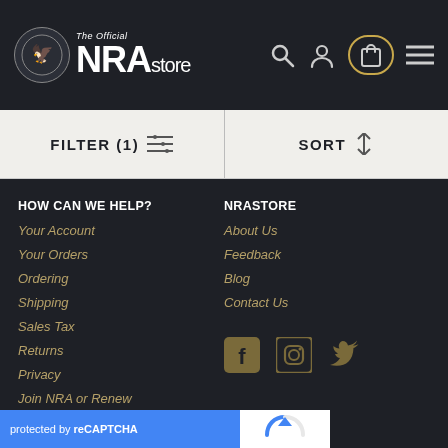[Figure (logo): The Official NRA Store logo with eagle emblem, search icon, account icon, shopping bag icon (outlined in gold), and hamburger menu icon on dark background]
FILTER (1)
SORT
HOW CAN WE HELP?
Your Account
Your Orders
Ordering
Shipping
Sales Tax
Returns
Privacy
Join NRA or Renew
NRASTORE
About Us
Feedback
Blog
Contact Us
[Figure (other): Social media icons: Facebook, Instagram, Twitter in gold/dark brown color]
protected by reCAPTCHA